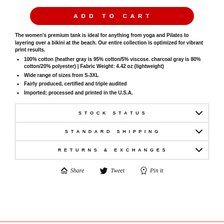ADD TO CART
The women's premium tank is ideal for anything from yoga and Pilates to layering over a bikini at the beach. Our entire collection is optimized for vibrant print results.
100% cotton (heather gray is 95% cotton/5% viscose. charcoal gray is 80% cotton/20% polyester) | Fabric Weight: 4.42 oz (lightweight)
Wide range of sizes from S-3XL
Fairly produced, certified and triple audited
Imported; processed and printed in the U.S.A.
| STOCK STATUS |
| STANDARD SHIPPING |
| RETURNS & EXCHANGES |
Share  Tweet  Pin it